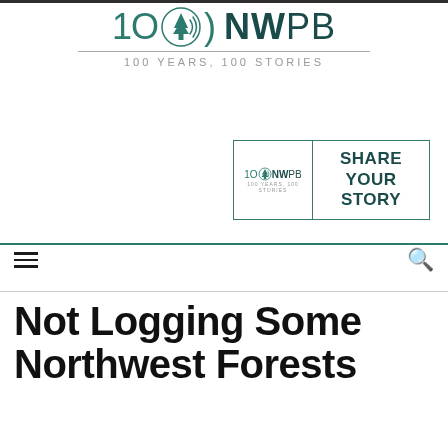[Figure (logo): NWPB 100 Years 100 Stories logo with stylized tree and radio waves icon]
[Figure (logo): NWPB Share Your Story advertisement banner with logo on left and text on right]
Not Logging Some Northwest Forests